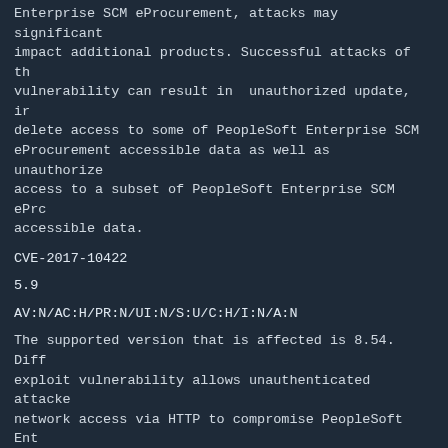Enterprise SCM eProcurement, attacks may significant impact additional products. Successful attacks of th vulnerability can result in  unauthorized update, ir delete access to some of PeopleSoft Enterprise SCM eProcurement accessible data as well as  unauthorize access to a subset of PeopleSoft Enterprise SCM ePrc accessible data.
CVE-2017-10422
5.9
AV:N/AC:H/PR:N/UI:N/S:U/C:H/I:N/A:N
The supported version that is affected is 8.54. Diff exploit vulnerability allows unauthenticated attacke network access via HTTP to compromise PeopleSoft Ent PeopleTools.  Successful attacks of this vulnerabili result in  unauthorized access to critical data or c access to all PeopleSoft Enterprise PeopleTools acce data.
CVE-2017-10304
5.4
AV:N/AC:L/PR:L/UI:R/S:C/C:L/I:L/A:N
The supported version that is affected is 9.2. Easil exploitable vulnerability allows low privileged atta with network access via HTTP to compromise PeopleSof Enterprise HCM.  Successful attacks require human interaction from a person other than the attacker ar